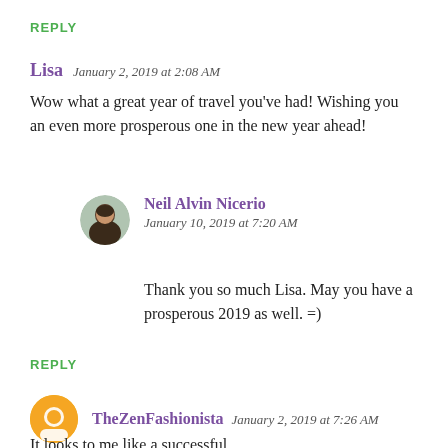REPLY
Lisa   January 2, 2019 at 2:08 AM
Wow what a great year of travel you've had! Wishing you an even more prosperous one in the new year ahead!
Neil Alvin Nicerio
January 10, 2019 at 7:20 AM
Thank you so much Lisa. May you have a prosperous 2019 as well. =)
REPLY
TheZenFashionista   January 2, 2019 at 7:26 AM
It looks to me like a successful...